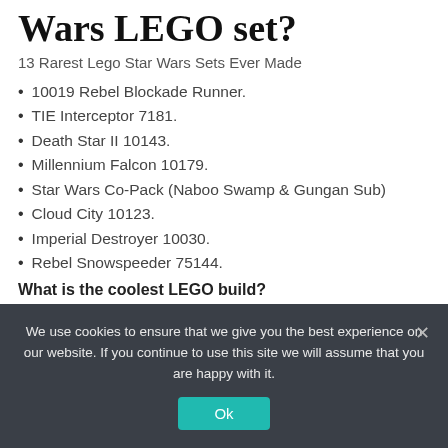Wars LEGO set?
13 Rarest Lego Star Wars Sets Ever Made
10019 Rebel Blockade Runner.
TIE Interceptor 7181.
Death Star II 10143.
Millennium Falcon 10179.
Star Wars Co-Pack (Naboo Swamp & Gungan Sub)
Cloud City 10123.
Imperial Destroyer 10030.
Rebel Snowspeeder 75144.
What is the coolest LEGO build?
Fandom Ranks the Best LEGO Creations of all Time
We use cookies to ensure that we give you the best experience on our website. If you continue to use this site we will assume that you are happy with it.